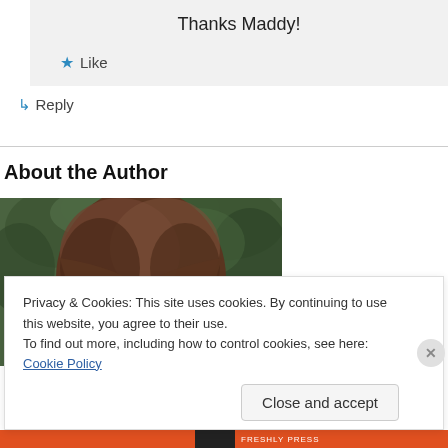Thanks Maddy!
★ Like
↳ Reply
About the Author
[Figure (photo): Close-up photo of a woman with brown hair, outdoors with blurred green foliage in background]
Privacy & Cookies: This site uses cookies. By continuing to use this website, you agree to their use.
To find out more, including how to control cookies, see here: Cookie Policy
Close and accept